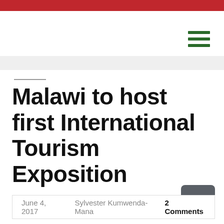Malawi to host first International Tourism Exposition
June 4, 2017   Sylvester Kumwenda- Mana  2 Comments
Malawi will in the month of September hold its first ever International Tourism Fairs or Expositions (Expo) at the Bingu International Convention Centre in bid to uplift the tourism industry in the country.